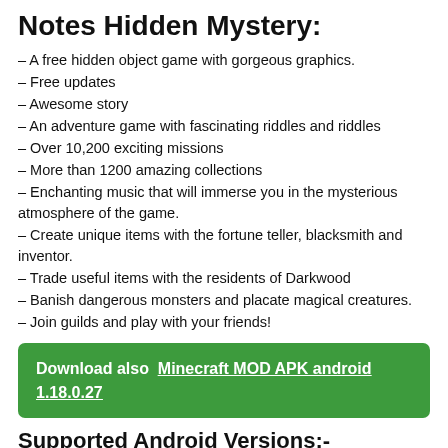Notes Hidden Mystery:
– A free hidden object game with gorgeous graphics.
– Free updates
– Awesome story
– An adventure game with fascinating riddles and riddles
– Over 10,200 exciting missions
– More than 1200 amazing collections
– Enchanting music that will immerse you in the mysterious atmosphere of the game.
– Create unique items with the fortune teller, blacksmith and inventor.
– Trade useful items with the residents of Darkwood
– Banish dangerous monsters and placate magical creatures.
– Join guilds and play with your friends!
Download also  Minecraft MOD APK android 1.18.0.27
Supported Android Versions:-
Jelly Bean(4.1-4.3.1)- KitKat (4.4-4.4.4)- Lollipop (5.0-5.0.2)